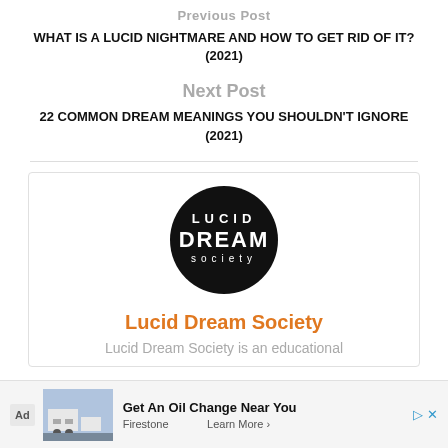Previous Post
WHAT IS A LUCID NIGHTMARE AND HOW TO GET RID OF IT? (2021)
Next Post
22 COMMON DREAM MEANINGS YOU SHOULDN'T IGNORE (2021)
[Figure (logo): Lucid Dream Society circular black logo with text LUCID DREAM society]
Lucid Dream Society
Lucid Dream Society is an educational
[Figure (other): Advertisement banner: Get An Oil Change Near You - Firestone - Learn More]